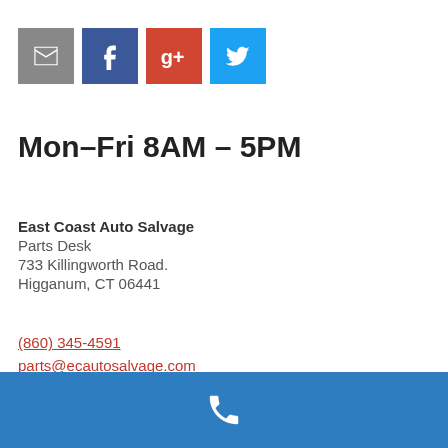[Figure (illustration): Four social media icon buttons: email (grey), Facebook (blue), Google+ (red), Twitter (light blue)]
Mon–Fri 8AM – 5PM
East Coast Auto Salvage
Parts Desk
733 Killingworth Road.
Higganum, CT 06441
(860) 345-4591
parts@ecautosalvage.com
Download vCard
[Figure (illustration): Blue footer bar with white phone handset icon]